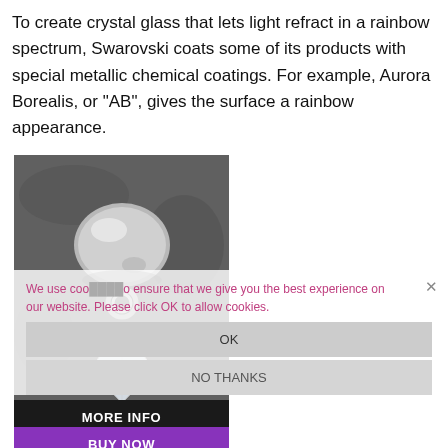To create crystal glass that lets light refract in a rainbow spectrum, Swarovski coats some of its products with special metallic chemical coatings. For example, Aurora Borealis, or "AB", gives the surface a rainbow appearance.
[Figure (photo): Photo of a Swarovski crystal charm/pendant with a metallic silver bead at top and a small AB crystal bicone below it, hanging with a ring connector, placed on a dark grey background. Overlaid with a cookie consent dialog and MORE INFO / BUY NOW buttons.]